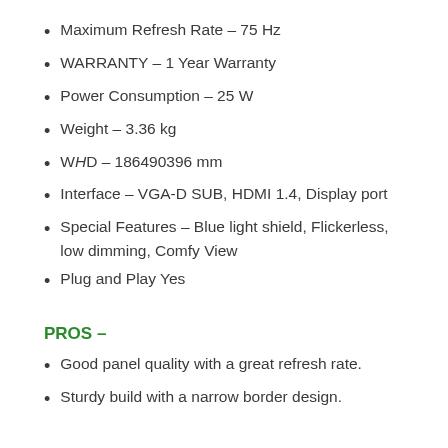Maximum Refresh Rate – 75 Hz
WARRANTY – 1 Year Warranty
Power Consumption – 25 W
Weight – 3.36 kg
WHD – 186490396 mm
Interface – VGA-D SUB, HDMI 1.4, Display port
Special Features – Blue light shield, Flickerless, low dimming, Comfy View
Plug and Play Yes
PROS –
Good panel quality with a great refresh rate.
Sturdy build with a narrow border design.